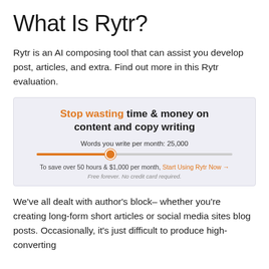What Is Rytr?
Rytr is an AI composing tool that can assist you develop post, articles, and extra. Find out more in this Rytr evaluation.
[Figure (screenshot): Rytr promotional banner showing 'Stop wasting time & money on content and copy writing' with a word-count slider set to 25,000 words per month, a call-to-action 'Start Using Rytr Now →', and note 'Free forever. No credit card required.']
We've all dealt with author's block– whether you're creating long-form short articles or social media sites blog posts. Occasionally, it's just difficult to produce high-converting